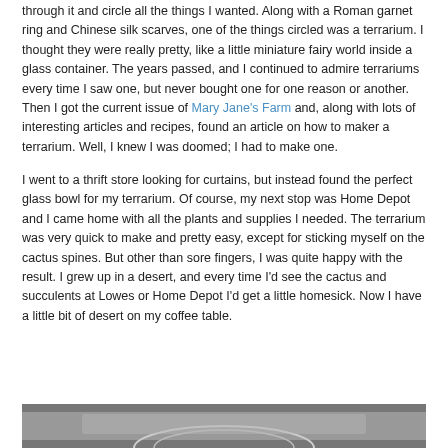through it and circle all the things I wanted. Along with a Roman garnet ring and Chinese silk scarves, one of the things circled was a terrarium. I thought they were really pretty, like a little miniature fairy world inside a glass container. The years passed, and I continued to admire terrariums every time I saw one, but never bought one for one reason or another. Then I got the current issue of Mary Jane's Farm and, along with lots of interesting articles and recipes, found an article on how to maker a terrarium. Well, I knew I was doomed; I had to make one.
I went to a thrift store looking for curtains, but instead found the perfect glass bowl for my terrarium. Of course, my next stop was Home Depot and I came home with all the plants and supplies I needed. The terrarium was very quick to make and pretty easy, except for sticking myself on the cactus spines. But other than sore fingers, I was quite happy with the result. I grew up in a desert, and every time I'd see the cactus and succulents at Lowes or Home Depot I'd get a little homesick. Now I have a little bit of desert on my coffee table.
[Figure (photo): Bottom portion of a photo showing what appears to be a glass bowl or terrarium, partially visible at the bottom of the page]